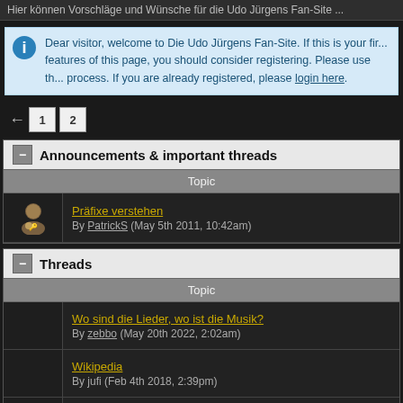Hier können Vorschläge und Wünsche für die Udo Jürgens Fan-Site...
Dear visitor, welcome to Die Udo Jürgens Fan-Site. If this is your fi... features of this page, you should consider registering. Please use th... process. If you are already registered, please login here.
← 1 2
Announcements & important threads
| Topic |
| --- |
| Präfixe verstehen
By PatrickS (May 5th 2011, 10:42am) |
Threads
| Topic |
| --- |
| Wo sind die Lieder, wo ist die Musik?
By zebbo (May 20th 2022, 2:02am) |
| Wikipedia
By jufi (Feb 4th 2018, 2:39pm) |
| Anpassung des Layouts an Smartphones und Tablets
By Daniel78 (Oct 21st 2017, 11:51am) |
| Alte Konzertfotos
By alexanderdoerr (Nov 1st 2012, 11:39am) |